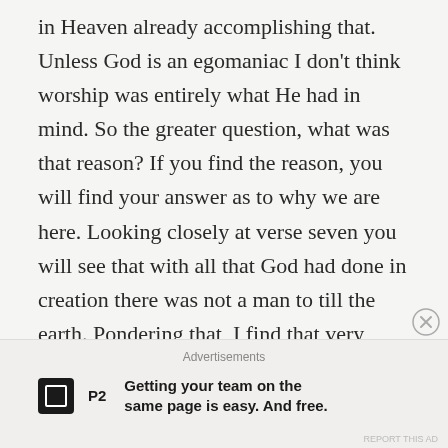in Heaven already accomplishing that. Unless God is an egomaniac I don't think worship was entirely what He had in mind. So the greater question, what was that reason? If you find the reason, you will find your answer as to why we are here. Looking closely at verse seven you will see that with all that God had done in creation there was not a man to till the earth. Pondering that, I find that very interesting. Moving through the scriptures to verse fifteen, God took the man and put him in the garden, to dress it and to keep it. I think that is your answer somewhat. In the grand scheme of things God made this earth. He made everything in the heavens and beyond and then decided to create a man to watch
Advertisements
[Figure (other): Advertisement banner for P2 service with logo and text: Getting your team on the same page is easy. And free.]